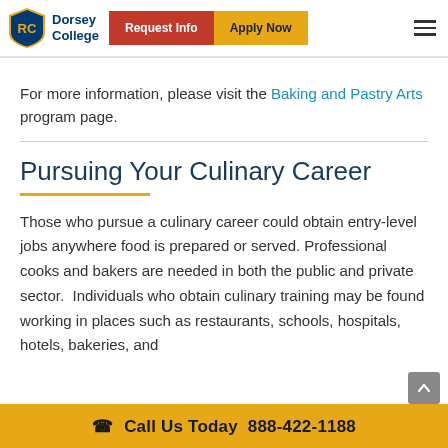Dorsey College — Request Info | Apply Now
For more information, please visit the Baking and Pastry Arts program page.
Pursuing Your Culinary Career
Those who pursue a culinary career could obtain entry-level jobs anywhere food is prepared or served. Professional cooks and bakers are needed in both the public and private sector.  Individuals who obtain culinary training may be found working in places such as restaurants, schools, hospitals, hotels, bakeries, and
Call Us Today  888-422-1188